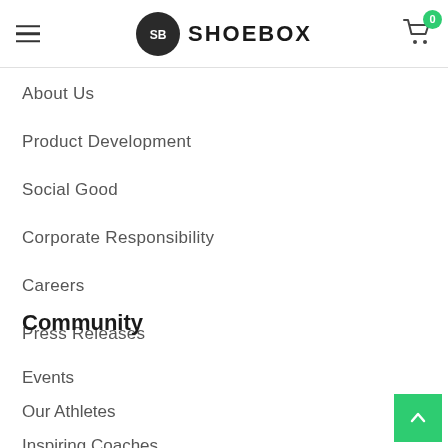SHOEBOX
About Us
Product Development
Social Good
Corporate Responsibility
Careers
Press Releases
Community
Events
Our Athletes
Inspiring Coaches